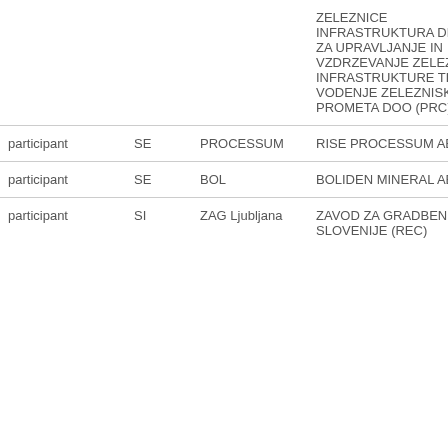|  |  |  | ZELEZNICE INFRASTRUKTURA DRUZBA ZA UPRAVLJANJE IN VZDRZEVANJE ZELEZNISKE INFRASTRUKTURE TER VODENJE ZELEZNISKEGA PROMETA DOO (PRC) |
| participant | SE | PROCESSUM | RISE PROCESSUM AB (PRC) |
| participant | SE | BOL | BOLIDEN MINERAL AB (PRC) |
| participant | SI | ZAG Ljubljana | ZAVOD ZA GRADBENISTVO SLOVENIJE (REC) |